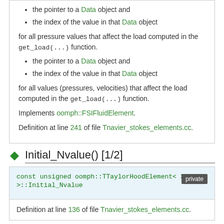the pointer to a Data object and
the index of the value in that Data object
for all pressure values that affect the load computed in the get_load(...) function.
the pointer to a Data object and
the index of the value in that Data object
for all values (pressures, velocities) that affect the load computed in the get_load(...) function.
Implements oomph::FSIFluidElement.
Definition at line 241 of file Tnavier_stokes_elements.cc.
Initial_Nvalue() [1/2]
const unsigned oomph::TTaylorHoodElement< 3 >::Initial_Nvalue
Definition at line 136 of file Tnavier_stokes_elements.cc.